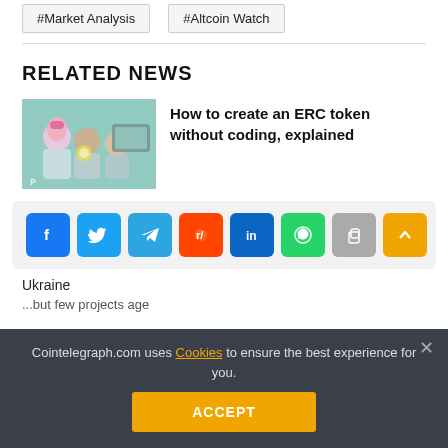#Market Analysis
#Altcoin Watch
RELATED NEWS
[Figure (illustration): Illustration of scientists/researchers working with technology, related to ERC token article]
How to create an ERC token without coding, explained
[Figure (infographic): Social share buttons: Facebook, Twitter, Telegram, Reddit, LinkedIn, WhatsApp, Copy, Scroll-up]
Ukraine
but few projects age
Cointelegraph.com uses Cookies to ensure the best experience for you.
ACCEPT